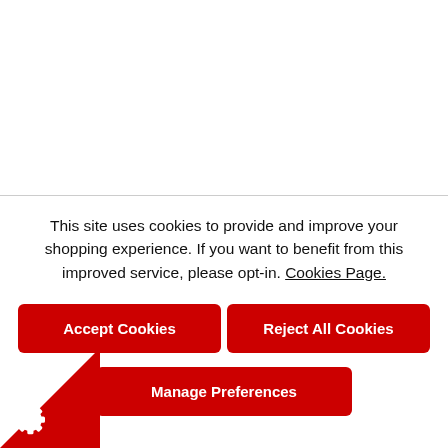This site uses cookies to provide and improve your shopping experience. If you want to benefit from this improved service, please opt-in. Cookies Page.
Accept Cookies
Reject All Cookies
Manage Preferences